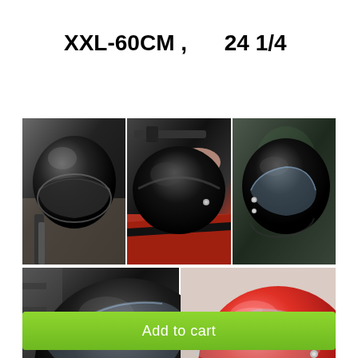XXL-60CM ,      24 1/4
[Figure (photo): Grid of 5 motorcycle helmet photos: top row shows three views of a black helmet (front view with dark visor, top/overhead view on motorcycle, side view with clear visor), bottom row shows a black helmet close-up with clear visor and a red helmet with clear visor.]
Add to cart